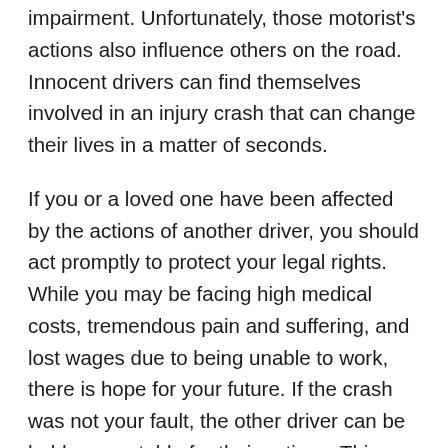impairment. Unfortunately, those motorist's actions also influence others on the road. Innocent drivers can find themselves involved in an injury crash that can change their lives in a matter of seconds.
If you or a loved one have been affected by the actions of another driver, you should act promptly to protect your legal rights. While you may be facing high medical costs, tremendous pain and suffering, and lost wages due to being unable to work, there is hope for your future. If the crash was not your fault, the other driver can be held accountable for their actions. This may include negotiations with the insurance adjuster handling your claim.
The amount of compensation to which you are entitled can only be determined by an attorney with